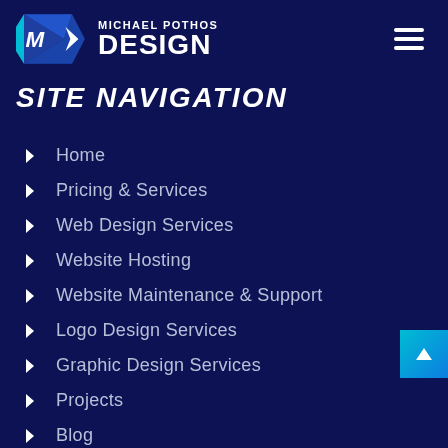Michael Pothos Design
SITE NAVIGATION
Home
Pricing & Services
Web Design Services
Website Hosting
Website Maintenance & Support
Logo Design Services
Graphic Design Services
Projects
Blog
Contact